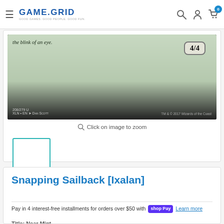GAME.GRID — Good Games. Good People. Good Fun.
[Figure (photo): Bottom portion of a Magic: The Gathering card (Snapping Sailback, Ixalan). Shows flavor text in italics 'the blink of an eye.', power/toughness box showing 4/4, set info '208/279 U XLN • EN → DAN SCOTT', and copyright 'TM & © 2017 Wizards of the Coast'.]
Click on image to zoom
[Figure (photo): Small thumbnail of the card with teal/cyan border highlight.]
Snapping Sailback [Ixalan]
Pay in 4 interest-free installments for orders over $50 with shop Pay  Learn more
Title: Near Mint